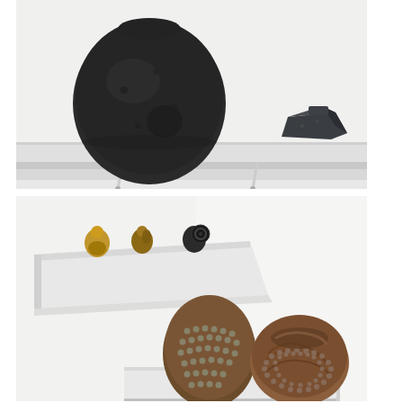[Figure (photo): Gallery installation photo showing two dark ceramic vessels displayed on a white wall-mounted shelf supported by two thin white rods. On the left is a large dark gray/black rounded vessel with a rough texture. On the right is a smaller angular dark stone-like object.]
[Figure (photo): Gallery installation photo showing two display areas. Upper: a white angled shelf bracket with three small bronze/metallic figurative sculptures on top. Lower: a white plinth with two ceramic vessels — an egg-shaped vessel covered in small spiky beads/studs on the left and a round bowl-shaped vessel with swirling texture and studded surface on the right.]